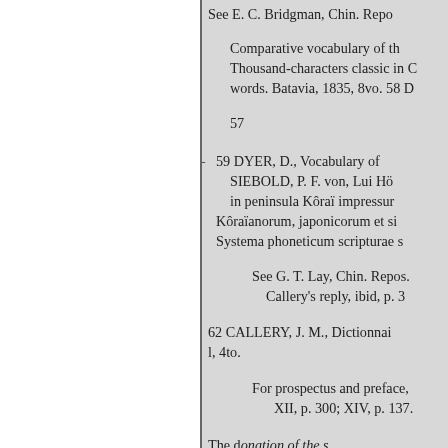See E. C. Bridgman, Chin. Repo
Comparative vocabulary of th Thousand-characters classic in C words. Batavia, 1835, 8vo. 58 D
57
59 DYER, D., Vocabulary of
SIEBOLD, P. F. von, Lui Hö in peninsula Kôraï impressu Kôraïanorum, japonicorum et si Systema phoneticum scripturae s
See G. T. Lay, Chin. Repos. Callery's reply, ibid, p. 3
62 CALLERY, J. M., Dictionnai l, 4to.
For prospectus and preface, XII, p. 300; XIV, p. 137.
The donation of the s